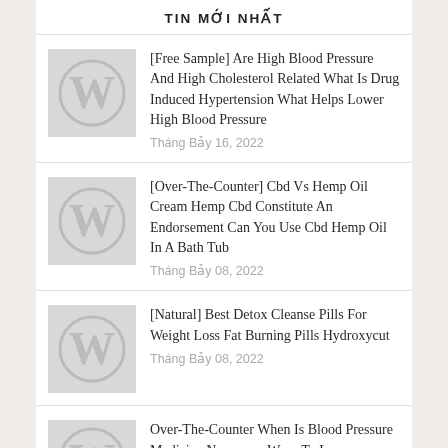TIN MỚI NHẤT
[Free Sample] Are High Blood Pressure And High Cholesterol Related What Is Drug Induced Hypertension What Helps Lower High Blood Pressure
Tháng Bảy 16, 2022
[Over-The-Counter] Cbd Vs Hemp Oil Cream Hemp Cbd Constitute An Endorsement Can You Use Cbd Hemp Oil In A Bath Tub
Tháng Bảy 08, 2022
[Natural] Best Detox Cleanse Pills For Weight Loss Fat Burning Pills Hydroxycut
Tháng Bảy 08, 2022
Over-The-Counter When Is Blood Pressure Medicine Necessary Ways To Lower